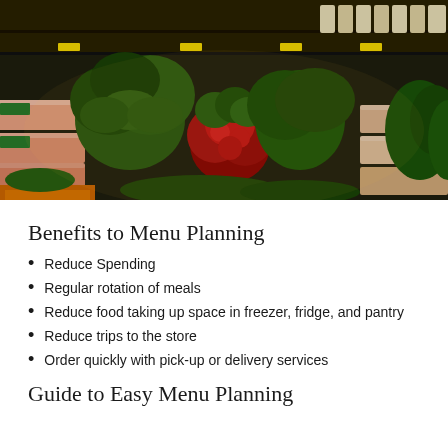[Figure (photo): A grocery store produce section showing colorful vegetables including leafy greens, radishes, carrots, and other fresh produce displayed on shelves and in bins.]
Benefits to Menu Planning
Reduce Spending
Regular rotation of meals
Reduce food taking up space in freezer, fridge, and pantry
Reduce trips to the store
Order quickly with pick-up or delivery services
Guide to Easy Menu Planning